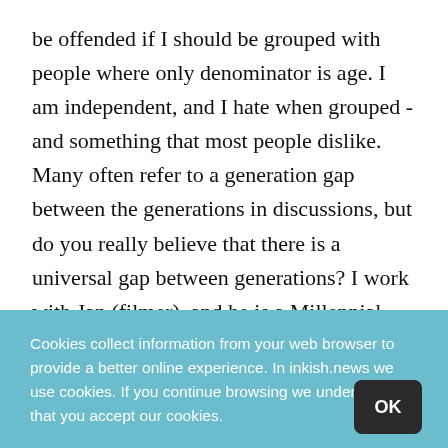be offended if I should be grouped with people where only denominator is age. I am independent, and I hate when grouped - and something that most people dislike. Many often refer to a generation gap between the generations in discussions, but do you really believe that there is a universal gap between generations? I work with Jan (filmer), and he is a Millennial. Do we share values - yes and no? He has ideas that I don't agree with, and I have
Cookies collect information from your web browser to provide a better online experience. In inkish.news we use cookies. If you continue browsing we understand that you accept our cookies.